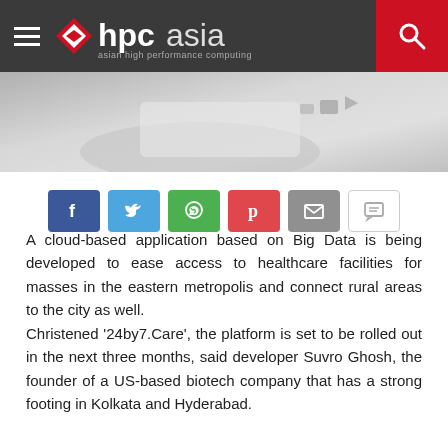hpcasia — asian high performance computing
[Figure (photo): Hero image showing hands holding a tablet device with digital interface elements]
[Figure (infographic): Social share buttons: Facebook, Twitter, WhatsApp, Pinterest, Email, Comment]
A cloud-based application based on Big Data is being developed to ease access to healthcare facilities for masses in the eastern metropolis and connect rural areas to the city as well.
Christened '24by7.Care', the platform is set to be rolled out in the next three months, said developer Suvro Ghosh, the founder of a US-based biotech company that has a strong footing in Kolkata and Hyderabad.
"Clearly...